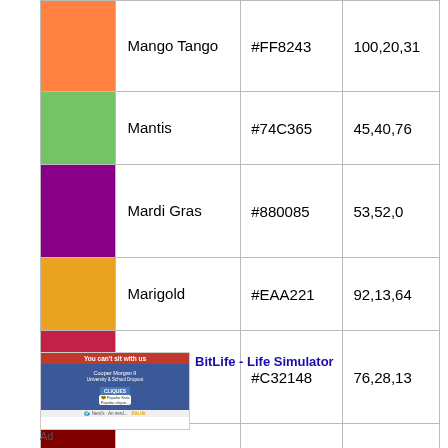| Color | Name | Hex | HSL |
| --- | --- | --- | --- |
| [Mango Tango swatch] | Mango Tango | #FF8243 | 100,20,31 |
| [Mantis swatch] | Mantis | #74C365 | 45,40,76 |
| [Mardi Gras swatch] | Mardi Gras | #880085 | 53,52,0 |
| [Marigold swatch] | Marigold | #EAA221 | 92,13,64 |
| [Maroon (Crayola) swatch] | Maroon (Crayola) | #C32148 | 76,28,13 |
| [Maroon (web) swatch] | Maroon (web) | #800000 | 50,0,0 |
[Figure (screenshot): BitLife Life Simulator advertisement showing 'You can't sit with us' screen with cliques feature]
BitLife - Life Simulator
Ad